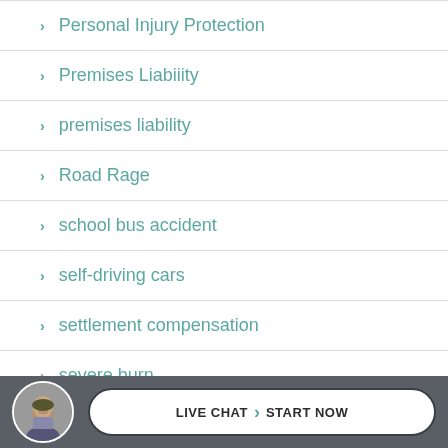> Personal Injury Protection
> Premises Liabiiity
> premises liability
> Road Rage
> school bus accident
> self-driving cars
> settlement compensation
> severe burn
LIVE CHAT > START NOW